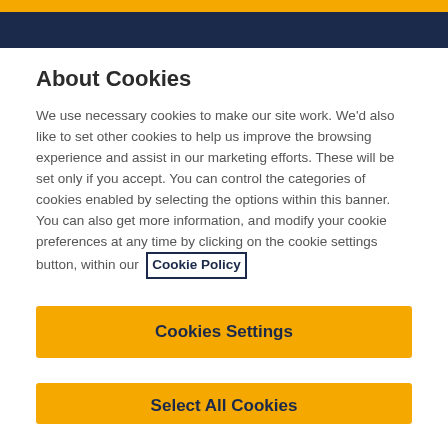About Cookies
We use necessary cookies to make our site work. We'd also like to set other cookies to help us improve the browsing experience and assist in our marketing efforts. These will be set only if you accept. You can control the categories of cookies enabled by selecting the options within this banner. You can also get more information, and modify your cookie preferences at any time by clicking on the cookie settings button, within our Cookie Policy
Cookies Settings
Select All Cookies